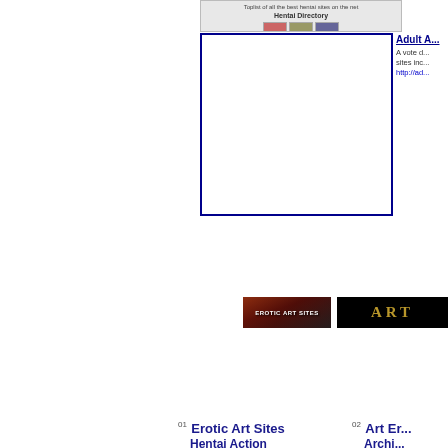[Figure (screenshot): Partial banner/screenshot at top showing hentai directory site with small images and text]
[Figure (other): Empty dark blue bordered advertisement box]
Adult A...
A vote d... sites inc... http://ad...
[Figure (other): Erotic Art Sites banner image with stylized figures]
[Figure (other): ART text banner in gold on black background]
01 Erotic Art Sites
Hentai Action
02 Art Er...
Archi...